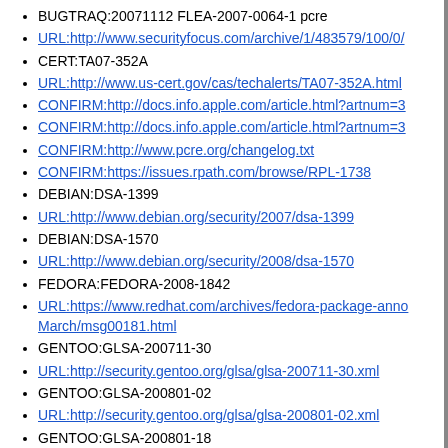BUGTRAQ:20071112 FLEA-2007-0064-1 pcre
URL:http://www.securityfocus.com/archive/1/483579/100/0/
CERT:TA07-352A
URL:http://www.us-cert.gov/cas/techalerts/TA07-352A.html
CONFIRM:http://docs.info.apple.com/article.html?artnum=3
CONFIRM:http://docs.info.apple.com/article.html?artnum=3
CONFIRM:http://www.pcre.org/changelog.txt
CONFIRM:https://issues.rpath.com/browse/RPL-1738
DEBIAN:DSA-1399
URL:http://www.debian.org/security/2007/dsa-1399
DEBIAN:DSA-1570
URL:http://www.debian.org/security/2008/dsa-1570
FEDORA:FEDORA-2008-1842
URL:https://www.redhat.com/archives/fedora-package-anno March/msg00181.html
GENTOO:GLSA-200711-30
URL:http://security.gentoo.org/glsa/glsa-200711-30.xml
GENTOO:GLSA-200801-02
URL:http://security.gentoo.org/glsa/glsa-200801-02.xml
GENTOO:GLSA-200801-18
URL:http://security.gentoo.org/glsa/glsa-200801-18.xml
GENTOO:GLSA-200801-19